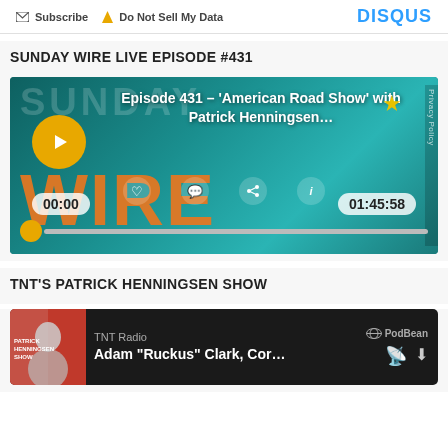Subscribe  Do Not Sell My Data    DISQUS
SUNDAY WIRE LIVE EPISODE #431
[Figure (screenshot): Podcast/audio player for Sunday Wire Episode 431 – 'American Road Show' with Patrick Henningsen. Shows play button, time 00:00 / 01:45:58, progress bar, icons for like/comment/share/info, Privacy Policy label.]
TNT'S PATRICK HENNINGSEN SHOW
[Figure (screenshot): Podcast card on dark background showing TNT Radio / PodBean branding. Title: Adam "Ruckus" Clark, Cor... with RSS and download icons. Thumbnail shows Patrick Henningsen Show logo with a person's face.]